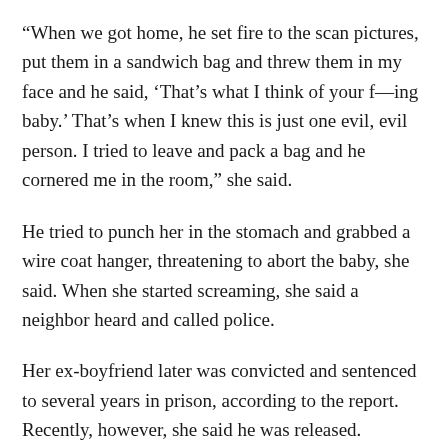“When we got home, he set fire to the scan pictures, put them in a sandwich bag and threw them in my face and he said, ‘That’s what I think of your f—ing baby.’ That’s when I knew this is just one evil, evil person. I tried to leave and pack a bag and he cornered me in the room,” she said.
He tried to punch her in the stomach and grabbed a wire coat hanger, threatening to abort the baby, she said. When she started screaming, she said a neighbor heard and called police.
Her ex-boyfriend later was convicted and sentenced to several years in prison, according to the report. Recently, however, she said he was released.